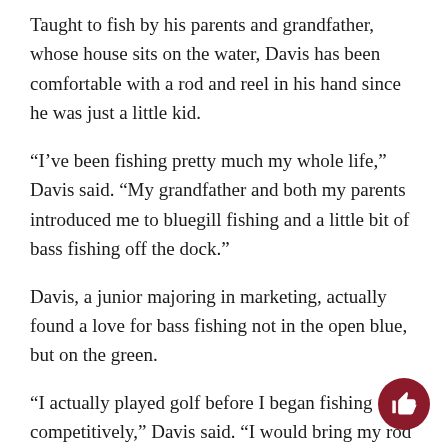Taught to fish by his parents and grandfather, whose house sits on the water, Davis has been comfortable with a rod and reel in his hand since he was just a little kid.
“I’ve been fishing pretty much my whole life,” Davis said. “My grandfather and both my parents introduced me to bluegill fishing and a little bit of bass fishing off the dock.”
Davis, a junior majoring in marketing, actually found a love for bass fishing not in the open blue, but on the green.
“I actually played golf before I began fishing competitively,” Davis said. “I would bring my rod out to the golf course and get to fish some that way and that got me more into bass fishing.”